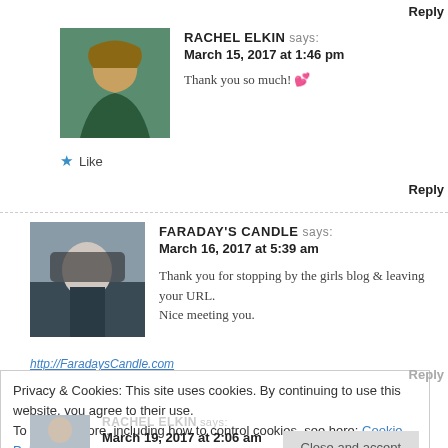Reply
RACHEL ELKIN says:
March 15, 2017 at 1:46 pm
Thank you so much! 💕
★ Like
Reply
FARADAY'S CANDLE says:
March 16, 2017 at 5:39 am
Thank you for stopping by the girls blog & leaving your URL. Nice meeting you.
http://FaradaysCandle.com
Privacy & Cookies: This site uses cookies. By continuing to use this website, you agree to their use.
To find out more, including how to control cookies, see here: Cookie Policy
Reply
RACHEL ELKIN says:
March 19, 2017 at 2:06 am